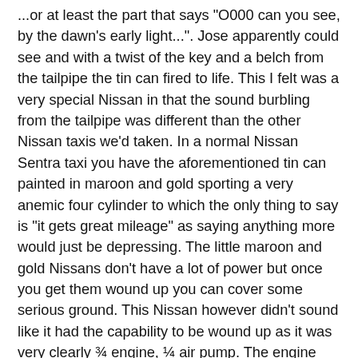...or at least the part that says "O000 can you see, by the dawn's early light...". Jose apparently could see and with a twist of the key and a belch from the tailpipe the tin can fired to life. This I felt was a very special Nissan in that the sound burbling from the tailpipe was different than the other Nissan taxis we'd taken. In a normal Nissan Sentra taxi you have the aforementioned tin can painted in maroon and gold sporting a very anemic four cylinder to which the only thing to say is "it gets great mileage" as saying anything more would just be depressing. The little maroon and gold Nissans don't have a lot of power but once you get them wound up you can cover some serious ground. This Nissan however didn't sound like it had the capability to be wound up as it was very clearly ¾ engine, ¼ air pump. The engine part coughed and sputtered and the air pump portion just wheezed. Jose however, seemingly undeterred put the shifter in gear, revved the engine, slipped the clutch and off we went into the night. At the first stoplight Jose pressed the brake pedal until we gently came to a complete stop. We stopped? At a stoplight? Are we still in Mexico? I was shocked and looked over the seat at Natalya to see if she was paying attention. We were